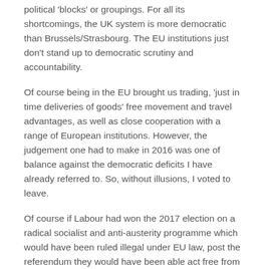political 'blocks' or groupings. For all its shortcomings, the UK system is more democratic than Brussels/Strasbourg. The EU institutions just don't stand up to democratic scrutiny and accountability.
Of course being in the EU brought us trading, 'just in time deliveries of goods' free movement and travel advantages, as well as close cooperation with a range of European institutions. However, the judgement one had to make in 2016 was one of balance against the democratic deficits I have already referred to. So, without illusions, I voted to leave.
Of course if Labour had won the 2017 election on a radical socialist and anti-austerity programme which would have been ruled illegal under EU law, post the referendum they would have been able act free from its challenges (although not those from business…